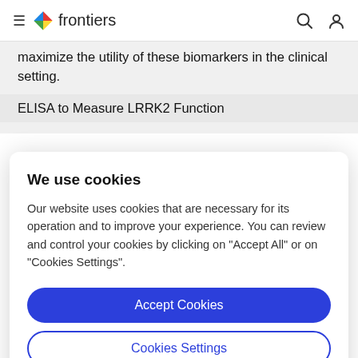frontiers
maximize the utility of these biomarkers in the clinical setting.
ELISA to Measure LRRK2 Function
We use cookies
Our website uses cookies that are necessary for its operation and to improve your experience. You can review and control your cookies by clicking on "Accept All" or on "Cookies Settings".
Accept Cookies
Cookies Settings